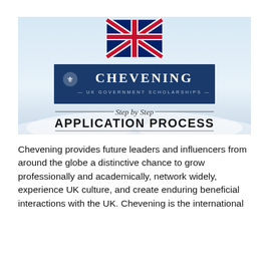[Figure (illustration): Chevening UK Government Scholarships banner showing the Union Jack flag at top, a blue rectangle with the royal coat of arms and 'CHEVENING – UK GOVERNMENT SCHOLARSHIPS –' text, and below that 'Step by Step APPLICATION PROCESS' on a cloudy sky background.]
Chevening provides future leaders and influencers from around the globe a distinctive chance to grow professionally and academically, network widely, experience UK culture, and create enduring beneficial interactions with the UK. Chevening is the international